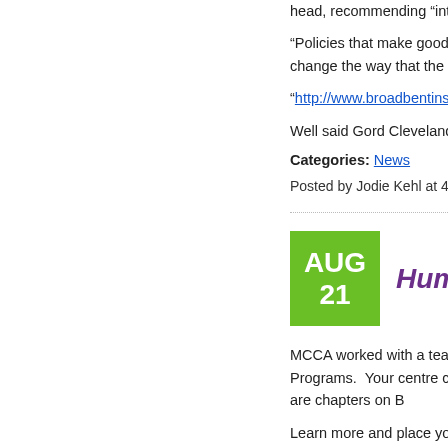head, recommending “intellige
“Policies that make good qua… change the way that the mark…
“http://www.broadbentinstitute…
Well said Gord Cleveland!
Categories: News
Posted by Jodie Kehl at 4:11 pm
[Figure (other): Green date box showing AUG 21 beside purple italic heading Human Re...]
MCCA worked with a team of… Programs. Your centre can u… are chapters on B… resource is comp…
Learn more and place your or…